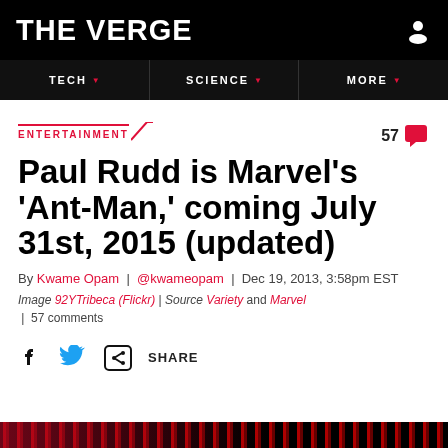THE VERGE
ENTERTAINMENT
Paul Rudd is Marvel's 'Ant-Man,' coming July 31st, 2015 (updated)
By Kwame Opam | @kwameopam | Dec 19, 2013, 3:58pm EST
Image 92YTribeca (Flickr) | Source Variety and Marvel | 57 comments